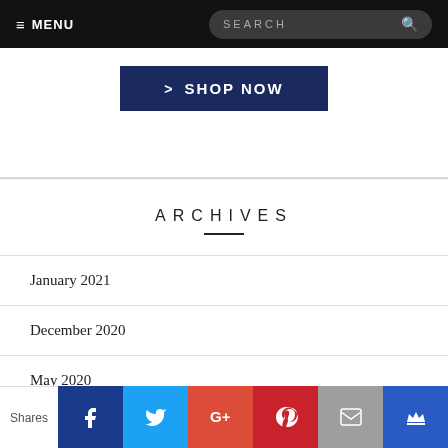≡ MENU  SEARCH
[Figure (screenshot): Shop Now button with dark navy background and white bold text with arrow]
ARCHIVES
January 2021
December 2020
May 2020
Shares [Facebook] [Twitter] [Google+] [Pinterest] [Email] [Crown]